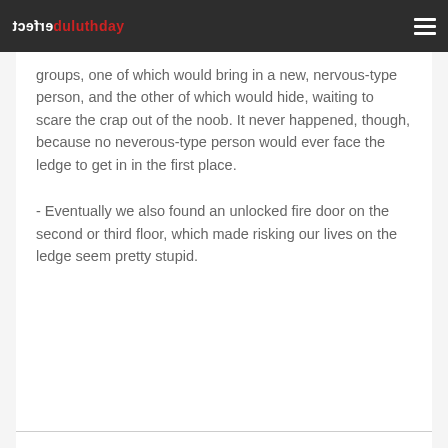erfect duluthday
groups, one of which would bring in a new, nervous-type person, and the other of which would hide, waiting to scare the crap out of the noob. It never happened, though, because no neverous-type person would ever face the ledge to get in in the first place.
- Eventually we also found an unlocked fire door on the second or third floor, which made risking our lives on the ledge seem pretty stupid.